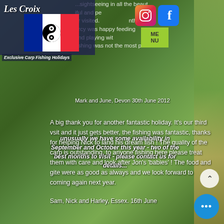[Figure (screenshot): Website screenshot for Les Croix Exclusive Carp Fishing Holidays. Shows a nature/lake background with overlaid text content including logo, social media icons, availability notice, and guest testimonials.]
Les Croix
Exclusive Carp Fishing Holidays
unusually we have some availability in September and October this year - two of the best months to visit - please contact us for details...
Mark and June, Devon 30th June 2012
A big thank you for another fantastic holiday. It's our third vsit and it just gets better, the fishing was fantastic, thanks for helping Nick to land his dream fish ! The quality of the carp is outstanding, to anyone fishing here please treat them with care and look after Jon's 'babies' ! The food and gite were as good as always and we look forward to coming again next year.
Sam, Nick and Harley, Essex. 16th June